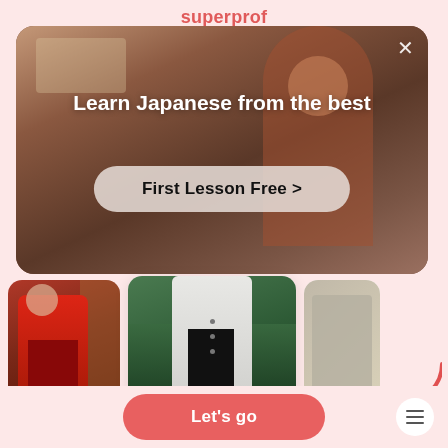superprof
[Figure (screenshot): Modal overlay on a Superprof app screen showing 'Learn Japanese from the best' with a 'First Lesson Free >' button, displayed over a blurred photo of a person]
Learn Japanese from the best
First Lesson Free >
vs)
5 (11 reviews)
Kapila
₹600/h  🏷 1st class free!
5 (
Purv
₹35
t class free!
Let's go